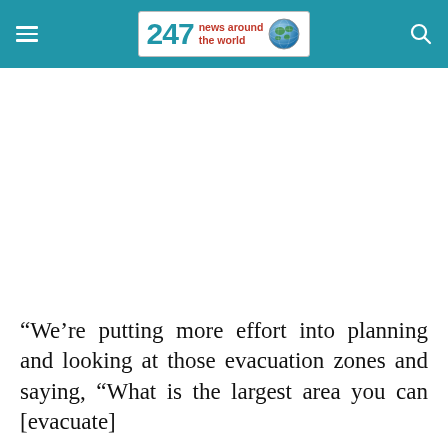247 news around the world
“We’re putting more effort into planning and looking at those evacuation zones and saying, “What is the largest area you can [evacuate]